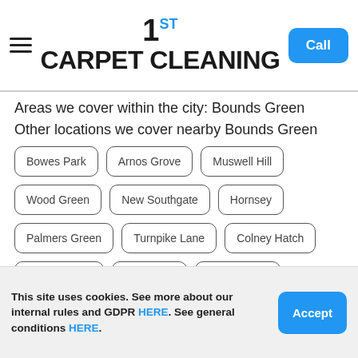1ST CARPET CLEANING | Call
Areas we cover within the city: Bounds Green
Other locations we cover nearby Bounds Green
Bowes Park
Arnos Grove
Muswell Hill
Wood Green
New Southgate
Hornsey
Palmers Green
Turnpike Lane
Colney Hatch
Friern Barnet
Southgate
Fortis Green
Crouch End
Brunswick Park
Osidge
This site uses cookies. See more about our internal rules and GDPR HERE. See general conditions HERE. | Accept